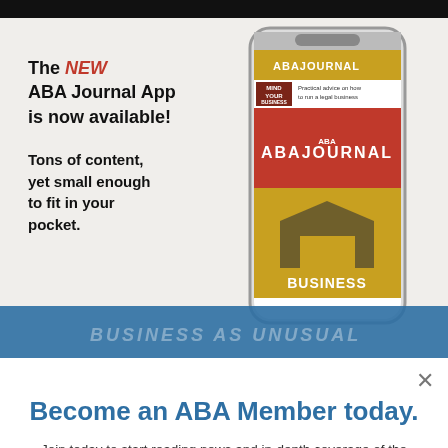[Figure (infographic): ABA Journal App advertisement banner showing a smartphone with the ABA Journal app open, alongside text promoting the new app]
Become an ABA Member today.
Join today to start reading news and in-depth coverage of the profession from the ABA Journal.
JOIN THE ABA
Already an ABA Member? Sign in
Yes